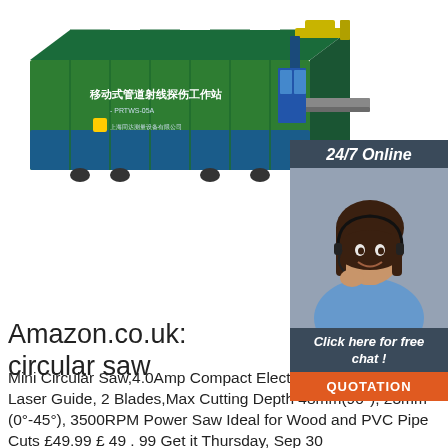[Figure (illustration): 3D rendering of a mobile pipeline X-ray inspection workstation in a green and blue shipping container with Chinese text labels and a probe arm extending from the right side.]
[Figure (photo): 24/7 Online support panel showing a smiling woman with headset and a 'Click here for free chat!' button above an orange QUOTATION button, on a dark blue-grey background.]
Amazon.co.uk: circular saw
Mini Circular Saw,4.0Amp Compact Electric Circular Saw with Laser Guide, 2 Blades,Max Cutting Depth 48mm(90°), 23mm"(0°-45°), 3500RPM Power Saw Ideal for Wood and PVC Pipe Cuts £49.99 £ 49 . 99 Get it Thursday, Sep 30